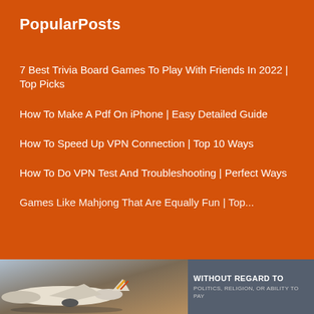PopularPosts
7 Best Trivia Board Games To Play With Friends In 2022 | Top Picks
How To Make A Pdf On iPhone | Easy Detailed Guide
How To Speed Up VPN Connection | Top 10 Ways
How To Do VPN Test And Troubleshooting | Perfect Ways
Games Like Mahjong That Are Equally Fun | Top...
[Figure (photo): Advertisement banner showing a cargo airplane on a grey-blue background with text 'WITHOUT REGARD TO POLITICS, RELIGION, OR ABILITY TO PAY']